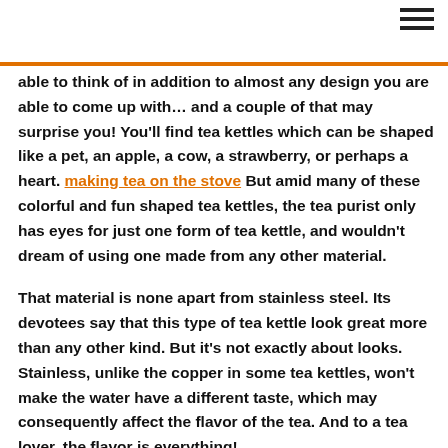≡ (hamburger menu icon)
able to think of in addition to almost any design you are able to come up with… and a couple of that may surprise you! You'll find tea kettles which can be shaped like a pet, an apple, a cow, a strawberry, or perhaps a heart. making tea on the stove But amid many of these colorful and fun shaped tea kettles, the tea purist only has eyes for just one form of tea kettle, and wouldn't dream of using one made from any other material.

That material is none apart from stainless steel. Its devotees say that this type of tea kettle look great more than any other kind. But it's not exactly about looks. Stainless, unlike the copper in some tea kettles, won't make the water have a different taste, which may consequently affect the flavor of the tea. And to a tea lover, the flavor is everything!